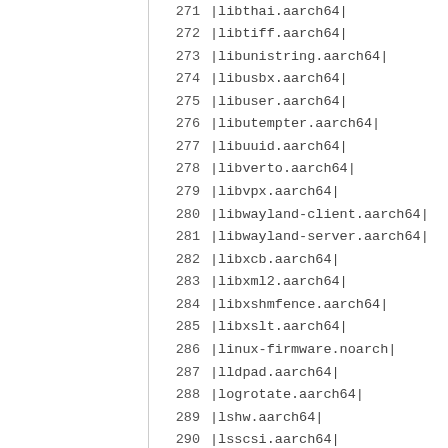271 |libthai.aarch64|
272 |libtiff.aarch64|
273 |libunistring.aarch64|
274 |libusbx.aarch64|
275 |libuser.aarch64|
276 |libutempter.aarch64|
277 |libuuid.aarch64|
278 |libverto.aarch64|
279 |libvpx.aarch64|
280 |libwayland-client.aarch64|
281 |libwayland-server.aarch64|
282 |libxcb.aarch64|
283 |libxml2.aarch64|
284 |libxshmfence.aarch64|
285 |libxslt.aarch64|
286 |linux-firmware.noarch|
287 |lldpad.aarch64|
288 |logrotate.aarch64|
289 |lshw.aarch64|
290 |lsscsi.aarch64|
291 |lua.aarch64|
292 |lvm2-libs.aarch64|
293 |lvm2.aarch64|
294 |lz4.aarch64|